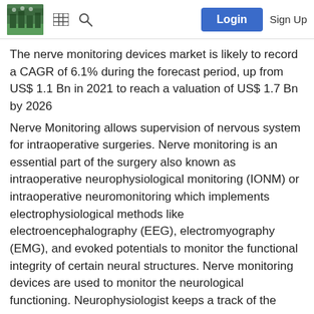Login  Sign Up
The nerve monitoring devices market is likely to record a CAGR of 6.1% during the forecast period, up from US$ 1.1 Bn in 2021 to reach a valuation of US$ 1.7 Bn by 2026
Nerve Monitoring allows supervision of nervous system for intraoperative surgeries. Nerve monitoring is an essential part of the surgery also known as intraoperative neurophysiological monitoring (IONM) or intraoperative neuromonitoring which implements electrophysiological methods like electroencephalography (EEG), electromyography (EMG), and evoked potentials to monitor the functional integrity of certain neural structures. Nerve monitoring devices are used to monitor the neurological functioning. Neurophysiologist keeps a track of the